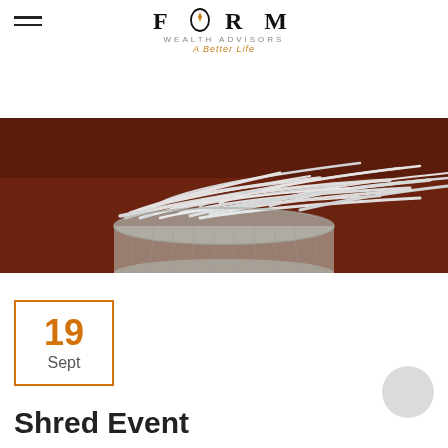FORM WEALTH ADVISORS — A Better Life
[Figure (photo): A wire mesh trash can overflowing with shredded strips of white paper, set against a dark reddish-brown background]
19 Sept
Shred Event